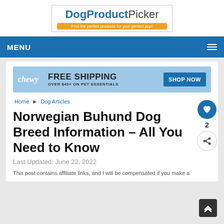DogProductPicker — Find the perfect products for your perfect pup!
MENU
[Figure (infographic): Chewy advertisement banner: FREE SHIPPING OVER $49+ ON PET ESSENTIALS — SHOP NOW]
Home ▶ Dog Articles
Norwegian Buhund Dog Breed Information – All You Need to Know
Last Updated: June 22, 2022
This post contains affiliate links, and I will be compensated if you make a